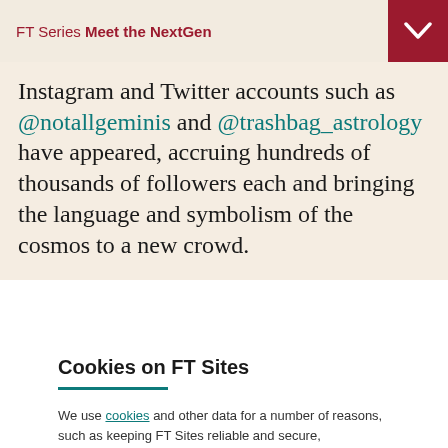FT Series Meet the NextGen
Instagram and Twitter accounts such as @notallgeminis and @trashbag_astrology have appeared, accruing hundreds of thousands of followers each and bringing the language and symbolism of the cosmos to a new crowd.
Cookies on FT Sites
We use cookies and other data for a number of reasons, such as keeping FT Sites reliable and secure, personalising content and ads, providing social media features and to analyse how our Sites are used.
Manage cookies
Accept & continue